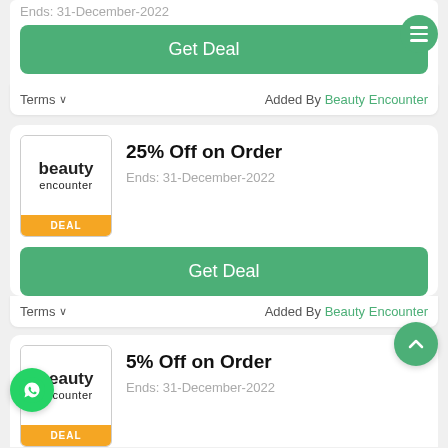Ends: 31-December-2022
Get Deal
Terms
Added By Beauty Encounter
25% Off on Order
Ends: 31-December-2022
DEAL
Get Deal
Terms
Added By Beauty Encounter
5% Off on Order
Ends: 31-December-2022